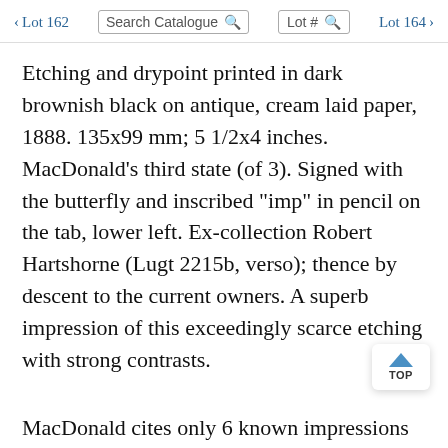< Lot 162  Search Catalogue  Lot #  Lot 164 >
Etching and drypoint printed in dark brownish black on antique, cream laid paper, 1888. 135x99 mm; 5 1/2x4 inches. MacDonald's third state (of 3). Signed with the butterfly and inscribed "imp" in pencil on the tab, lower left. Ex-collection Robert Hartshorne (Lugt 2215b, verso); thence by descent to the current owners. A superb impression of this exceedingly scarce etching with strong contrasts.
MacDonald cites only 6 known impressions of this subject. We have not found another impression at auction in the past 30 years.